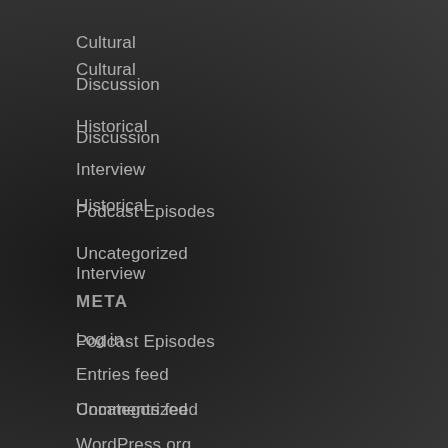Cultural
Discussion
Historical
Interview
Podcast Episodes
Uncategorized
META
Log in
Entries feed
Comments feed
WordPress.org
EPISODES LIST